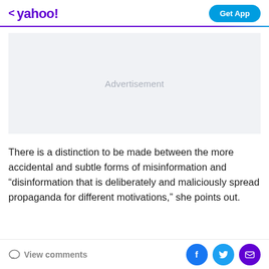< yahoo!  Get App
[Figure (other): Advertisement placeholder box with light gray background and 'Advertisement' text centered]
There is a distinction to be made between the more accidental and subtle forms of misinformation and “disinformation that is deliberately and maliciously spread propaganda for different motivations,” she points out.
View comments  [Facebook] [Twitter] [Mail]